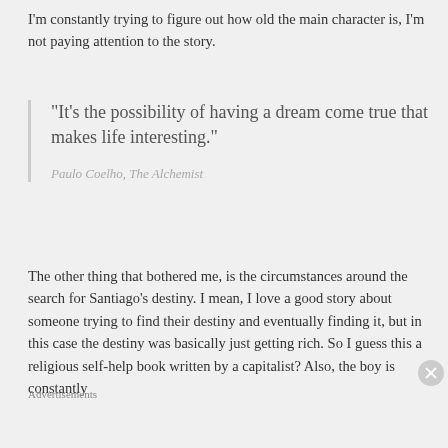I'm constantly trying to figure out how old the main character is, I'm not paying attention to the story.
“It’s the possibility of having a dream come true that makes life interesting.”
Paulo Coelho, The Alchemist
The other thing that bothered me, is the circumstances around the search for Santiago's destiny. I mean, I love a good story about someone trying to find their destiny and eventually finding it, but in this case the destiny was basically just getting rich. So I guess this a religious self-help book written by a capitalist? Also, the boy is constantly
Advertisements
[Figure (other): DuckDuckGo advertisement banner: orange left panel with text 'Search, browse, and email with more privacy. All in One Free App' and dark right panel with DuckDuckGo logo and name.]